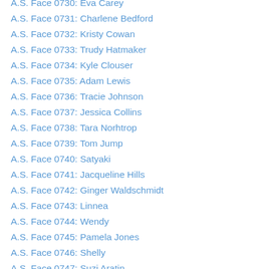A.S. Face 0730: Eva Carey
A.S. Face 0731: Charlene Bedford
A.S. Face 0732: Kristy Cowan
A.S. Face 0733: Trudy Hatmaker
A.S. Face 0734: Kyle Clouser
A.S. Face 0735: Adam Lewis
A.S. Face 0736: Tracie Johnson
A.S. Face 0737: Jessica Collins
A.S. Face 0738: Tara Norhtrop
A.S. Face 0739: Tom Jump
A.S. Face 0740: Satyaki
A.S. Face 0741: Jacqueline Hills
A.S. Face 0742: Ginger Waldschmidt
A.S. Face 0743: Linnea
A.S. Face 0744: Wendy
A.S. Face 0745: Pamela Jones
A.S. Face 0746: Shelly
A.S. Face 0747: Suzi Aratin
A.S. Face 0748: Kelly
A.S. Face 0749: Natalie